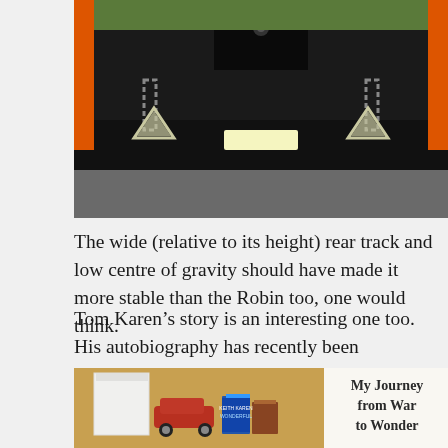[Figure (photo): Rear view of an orange and black vehicle (possibly a Robin or similar three-wheeler) showing a wide rear track, two triangular reflectors, coil springs, and grass in the background.]
The wide (relative to its height) rear track and low centre of gravity should have made it more stable than the Robin too, one would think.
Tom Karen’s story is an interesting one too. His autobiography has recently been published and would be a good read over Christmas:
[Figure (photo): Partial view of a book cover illustration showing a book titled 'My Journey from War to Wonder' with illustrated items including a red car, books, and other objects on a shelf.]